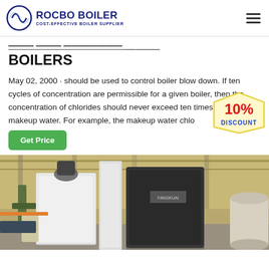ROCBO BOILER — COST-EFFECTIVE BOILER SUPPLIER
BOILERS
May 02, 2000 · should be used to control boiler blow down. If ten cycles of concentration are permissible for a given boiler, then the concentration of chlorides should never exceed ten times that of the makeup water. For example, the makeup water chlo...
[Figure (other): 10% DISCOUNT badge/sticker overlaid on the text area]
[Figure (photo): Industrial boiler equipment inside a factory/warehouse building, showing white and dark-colored boiler units with pipes and fittings]